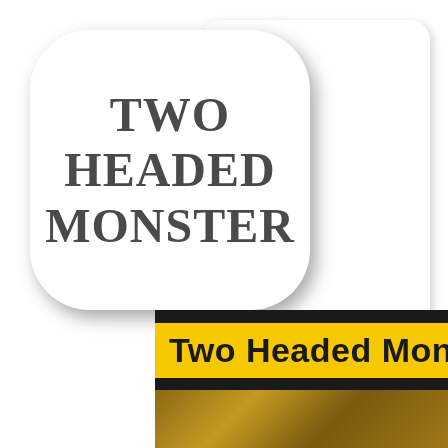[Figure (illustration): App icon: white rounded square with shadow showing bold serif text 'TWO HEADED MONSTER' in dark gray, centered]
TWO HEADED MONSTER
[Figure (illustration): Partial view of a second card/book cover with yellow banner strip showing text 'Two Headed Monste' (cropped) in bold black on yellow background with dark border]
Two Headed Monste